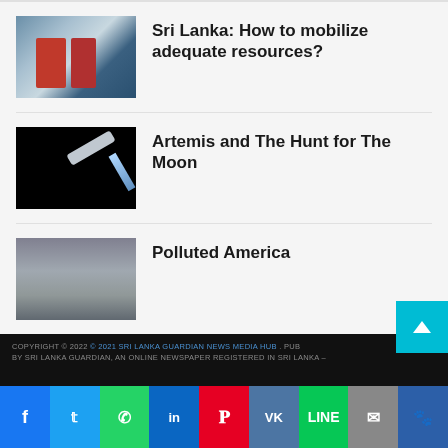[Figure (photo): Thumbnail image of people with blue barrels, Sri Lanka water/resources scene]
Sri Lanka: How to mobilize adequate resources?
[Figure (photo): Thumbnail of spacecraft in dark space, Artemis mission]
Artemis and The Hunt for The Moon
[Figure (photo): Thumbnail of cloudy smoggy sky over city, pollution scene]
Polluted America
COPYRIGHT © 2022 © 2021 SRI LANKA GUARDIAN NEWS MEDIA HUB . PUBLISHED BY SRI LANKA GUARDIAN, AN ONLINE NEWSPAPER REGISTERED IN SRI LANKA –